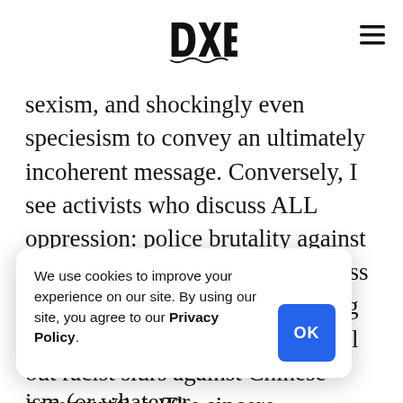DXE logo and hamburger menu
sexism, and shockingly even speciesism to convey an ultimately incoherent message. Conversely, I see activists who discuss ALL oppression: police brutality against black and brown bodies, awareness of reproductive rights, eliminating homo antagonism, the need to call out racist slurs against Chinese communities. The sincere intersectional advocate is usually apparent [as the au]thentic voice who [will a]ll be noticed. [... the discussion to ...ism (or whatever ...e people in that
We use cookies to improve your experience on our site. By using our site, you agree to our Privacy Policy.